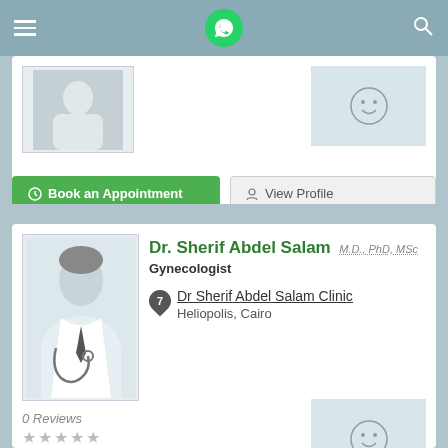0 Reviews
★★★★★
Book an Appointment | View Profile
Dr. Sherif Abdel Salam M.D., PhD, MSc
Gynecologist
Dr Sherif Abdel Salam Clinic
Heliopolis, Cairo
0 Reviews
★★★★★
Book an Appointment | View Profile